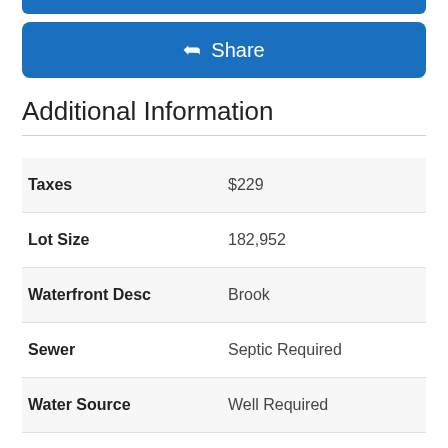[Figure (other): Blue share button with share icon and text 'Share']
Additional Information
| Field | Value |
| --- | --- |
| Taxes | $229 |
| Lot Size | 182,952 |
| Waterfront Desc | Brook |
| Sewer | Septic Required |
| Water Source | Well Required |
| Elementary School | Cherry Brook Primary |
| High School | Canton |